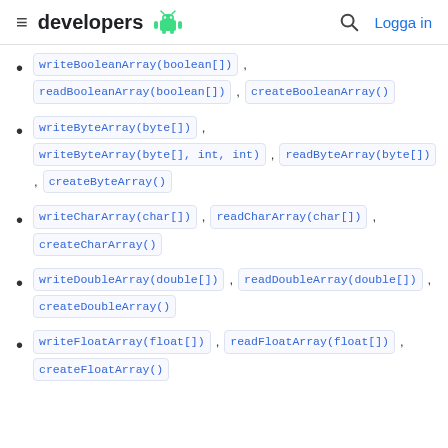developers  [android logo]  [search icon]  Logga in
writeBooleanArray(boolean[]), readBooleanArray(boolean[]), createBooleanArray()
writeByteArray(byte[]), writeByteArray(byte[], int, int), readByteArray(byte[]), createByteArray()
writeCharArray(char[]), readCharArray(char[]), createCharArray()
writeDoubleArray(double[]), readDoubleArray(double[]), createDoubleArray()
writeFloatArray(float[]), readFloatArray(float[]), createFloatArray()